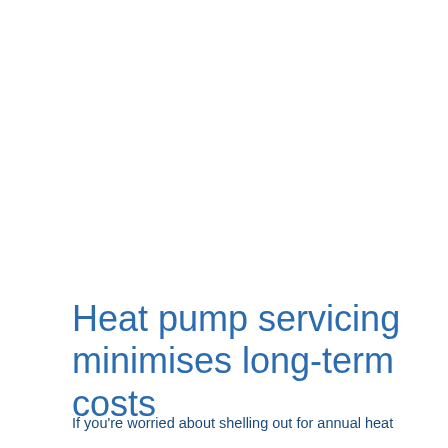Heat pump servicing minimises long-term costs
If you're worried about shelling out for annual heat